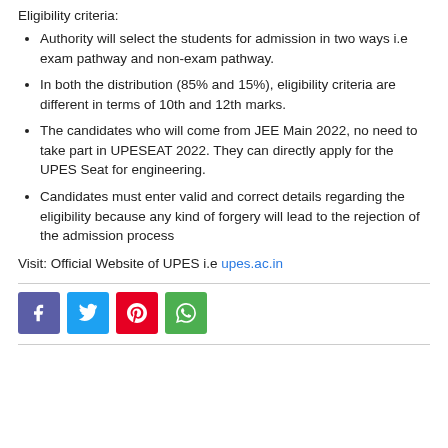Eligibility criteria:
Authority will select the students for admission in two ways i.e exam pathway and non-exam pathway.
In both the distribution (85% and 15%), eligibility criteria are different in terms of 10th and 12th marks.
The candidates who will come from JEE Main 2022, no need to take part in UPESEAT 2022. They can directly apply for the UPES Seat for engineering.
Candidates must enter valid and correct details regarding the eligibility because any kind of forgery will lead to the rejection of the admission process
Visit: Official Website of UPES i.e upes.ac.in
[Figure (infographic): Social media share buttons: Facebook (blue/purple), Twitter (blue), Pinterest (red), WhatsApp (green)]